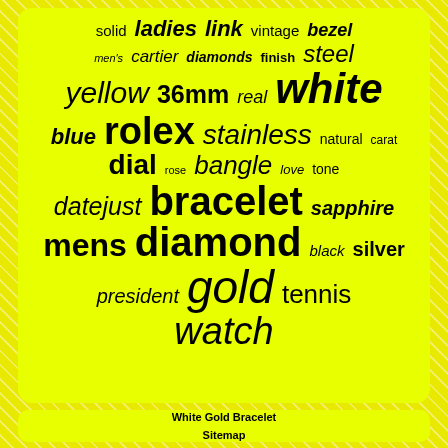[Figure (infographic): Word cloud on yellow background featuring jewelry/watch-related terms in varying sizes: solid, ladies, link, vintage, bezel, men's, cartier, diamonds, finish, steel, yellow, 36mm, real, white, blue, rolex, stainless, natural, carat, dial, rose, bangle, love, tone, datejust, bracelet, sapphire, mens, diamond, black, silver, president, gold, tennis, watch]
White Gold Bracelet
Sitemap